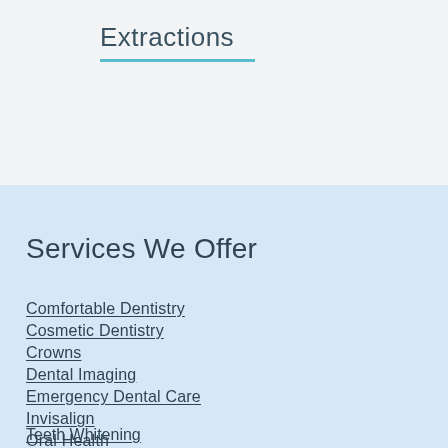Extractions
Services We Offer
Comfortable Dentistry
Cosmetic Dentistry
Crowns
Dental Imaging
Emergency Dental Care
Invisalign
Oral Health
Teeth Whitening